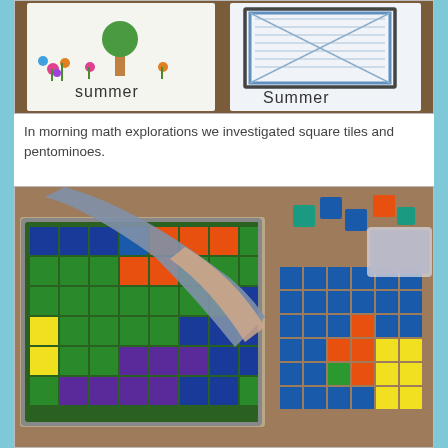[Figure (photo): Two children's drawings of summer — one showing a tree with colorful flowers and the word 'summer', and another showing a window/door drawn in pencil with the word 'Summer'.]
In morning math explorations we investigated square tiles and pentominoes.
[Figure (photo): A child arranging colorful square tiles and pentominoes in a framed tray on a table, with loose colorful tiles scattered nearby in a bin.]